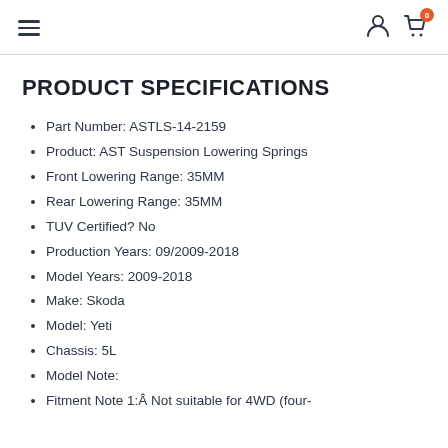menu icon, person icon, cart icon with badge 0
PRODUCT SPECIFICATIONS
Part Number: ASTLS-14-2159
Product: AST Suspension Lowering Springs
Front Lowering Range: 35MM
Rear Lowering Range: 35MM
TUV Certified? No
Production Years: 09/2009-2018
Model Years: 2009-2018
Make: Skoda
Model: Yeti
Chassis: 5L
Model Note:
Fitment Note 1:Â Not suitable for 4WD (four-